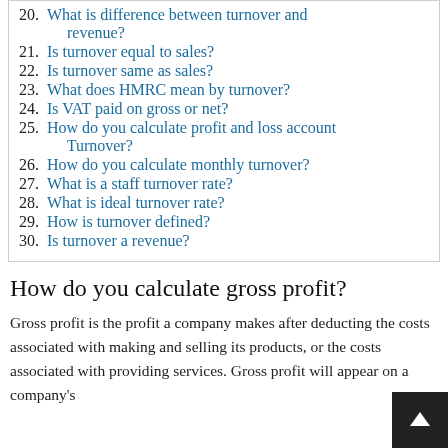20. What is difference between turnover and revenue?
21. Is turnover equal to sales?
22. Is turnover same as sales?
23. What does HMRC mean by turnover?
24. Is VAT paid on gross or net?
25. How do you calculate profit and loss account Turnover?
26. How do you calculate monthly turnover?
27. What is a staff turnover rate?
28. What is ideal turnover rate?
29. How is turnover defined?
30. Is turnover a revenue?
How do you calculate gross profit?
Gross profit is the profit a company makes after deducting the costs associated with making and selling its products, or the costs associated with providing services. Gross profit will appear on a company's